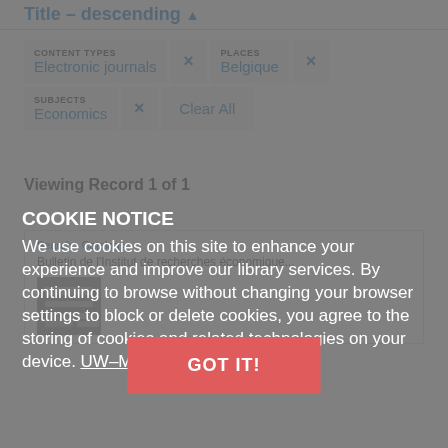Title – descending ▲
CONTENT TYPES Electronic journals × PLACES Belgique ×
SUBJECTS Economics × Clear All
Viewing Record 1 of 1
Search › Catalog ›
Bulletin de l'Institut de recherches économique...
COOKIE NOTICE
We use cookies on this site to enhance your experience and improve our library services. By continuing to browse without changing your browser settings to block or delete cookies, you agree to the storing of cookies and related technologies on your device. UW–Madison Privacy Notice
GOT IT!